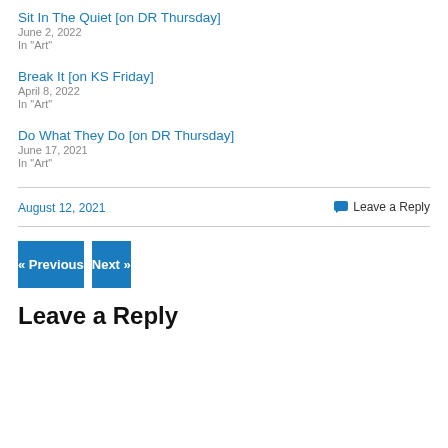Sit In The Quiet [on DR Thursday]
June 2, 2022
In "Art"
Break It [on KS Friday]
April 8, 2022
In "Art"
Do What They Do [on DR Thursday]
June 17, 2021
In "Art"
August 12, 2021
Leave a Reply
« Previous
Next »
Leave a Reply